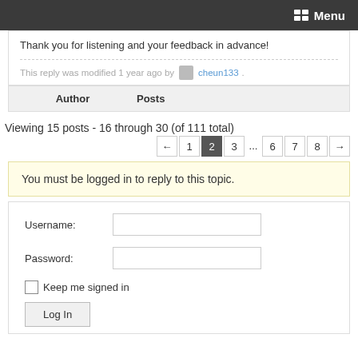Menu
Thank you for listening and your feedback in advance!
This reply was modified 1 year ago by cheun133.
| Author | Posts |
| --- | --- |
Viewing 15 posts - 16 through 30 (of 111 total)
← 1 2 3 ... 6 7 8 →
You must be logged in to reply to this topic.
Username:
Password:
Keep me signed in
Log In